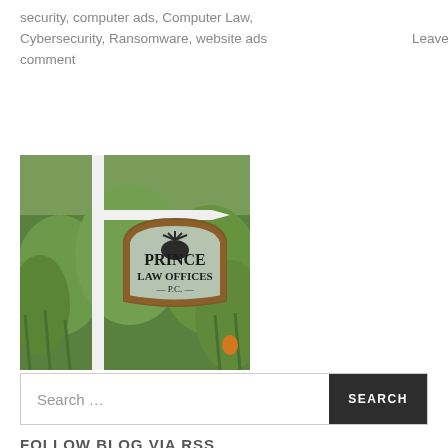security, computer ads, Computer Law, Cybersecurity, Ransomware, website ads    Leave a comment
[Figure (photo): Outdoor sign for Prince Law Offices P.C. mounted on a white post, surrounded by tall green grass and foliage.]
Search …
FOLLOW BLOG VIA RSS